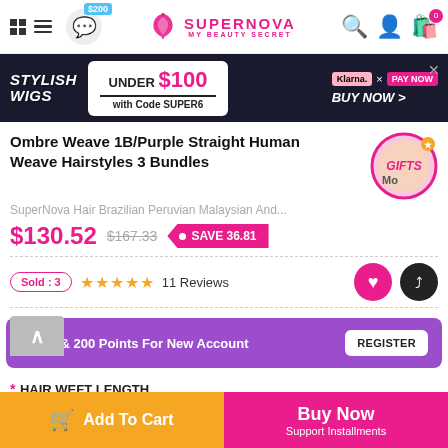[Figure (screenshot): SuperNova My Beauty Secret e-commerce store header with logo, chat icon with $200 badge, search, account, and cart icons]
[Figure (infographic): Promotional banner: STYLISH WIGS - UNDER $100 with Code SUPER6 - Klarna x PayNow - BUY NOW >]
Ombre Weave 1B/Purple Straight Human Weave Hairstyles 3 Bundles
SuperNova Hair Brazilian Peruvian Malaysian And...
$130.52  $167.33  • SAVE 36.81
Sold : 3  ★★★★★  11 Reviews
$3 Off & 200 Points For New Account
* HAIR WEFT LENGTH
Add To Cart
Buy Now Support Installments